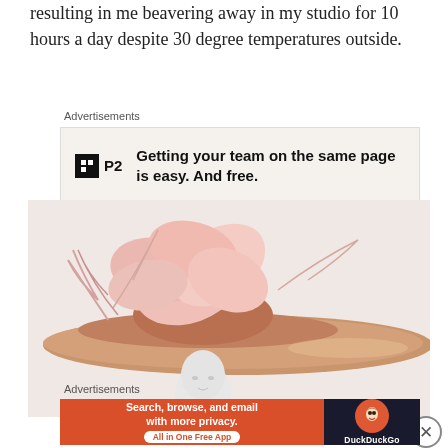resulting in me beavering away in my studio for 10 hours a day despite 30 degree temperatures outside.
Advertisements
[Figure (infographic): P2 advertisement: Getting your team on the same page is easy. And free.]
REPORT THIS AD
[Figure (photo): A wide-brimmed pink/blush fascinator hat with large silk flower decorations and feathers, displayed on a white mannequin head]
Advertisements
[Figure (infographic): DuckDuckGo advertisement: Search, browse, and email with more privacy. All in One Free App]